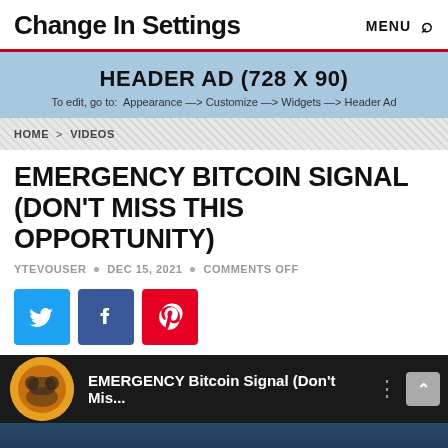Change In Settings
[Figure (infographic): Header Ad banner (728 x 90) with light blue background, bold text and instructions to edit via Appearance → Customize → Widgets → Header Ad]
HOME > VIDEOS
EMERGENCY BITCOIN SIGNAL (DON'T MISS THIS OPPORTUNITY)
YTEVOUSER • DEC 15, 2021 • COMMENTS OFF
[Figure (infographic): Social share buttons: Twitter (blue), Facebook (dark blue), Pinterest (red)]
[Figure (screenshot): Video player thumbnail with orange circular icon, title 'EMERGENCY Bitcoin Signal (Don't Mis...' on dark background, with scroll-to-top button]